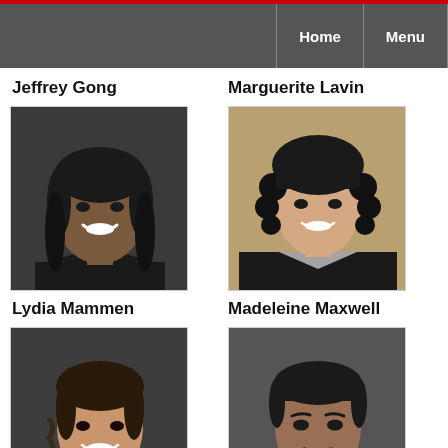Home  Menu
Jeffrey Gong
Marguerite Lavin
[Figure (photo): Portrait photo of Lydia Mammen, a young woman with dark hair, smiling, wearing a red accessory]
[Figure (photo): Portrait photo of Madeleine Maxwell, a young woman with curly dark hair, smiling, wearing a dark blazer]
Lydia Mammen
Madeleine Maxwell
[Figure (photo): Portrait photo of a young woman with braided dark hair, smiling, wearing red]
[Figure (photo): Portrait photo of a young man with dark hair, wearing a dark suit]